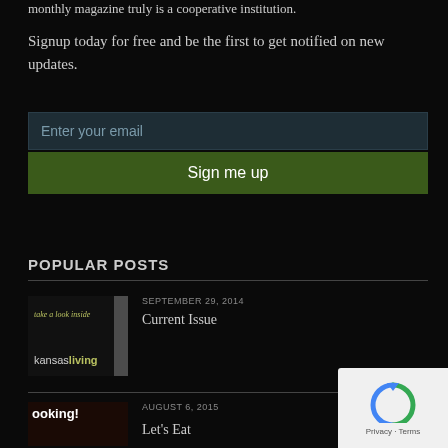monthly magazine truly is a cooperative institution.
Signup today for free and be the first to get notified on new updates.
Enter your email
Sign me up
POPULAR POSTS
SEPTEMBER 29, 2014
Current Issue
AUGUST 6, 2015
Let's Eat